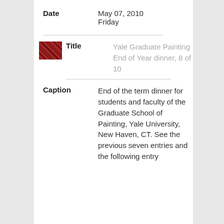| Field | Value |
| --- | --- |
| Date | May 07, 2010
Friday |
| Title | Yale Graduate Painting End of Year dinner, 8 of 10 |
| Caption | End of the term dinner for students and faculty of the Graduate School of Painting, Yale University, New Haven, CT. See the previous seven entries and the following entry |